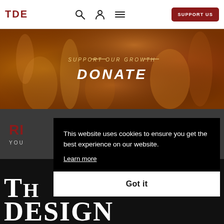TDE
[Figure (photo): Hero banner with amber/golden glassware or decorative objects on dark background, overlaid with text 'SUPPORT OUR GROWTH — DONATE']
SUPPORT OUR GROWTH
DONATE
RI...
YOU...
This website uses cookies to ensure you get the best experience on our website.
Learn more
Got it
TH
DESIGN